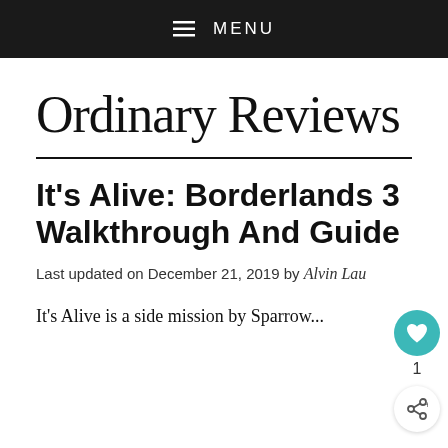≡ MENU
Ordinary Reviews
It's Alive: Borderlands 3 Walkthrough And Guide
Last updated on December 21, 2019 by Alvin Lau
It's Alive is a side mission by Sparrow...